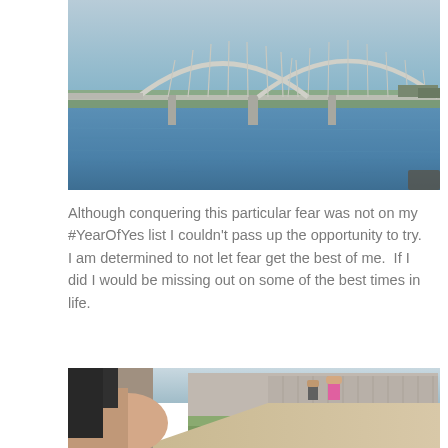[Figure (photo): Outdoor photo of a large arch bridge over a wide blue river. Sky is hazy blue. Bridge is white/silver steel arch structure spanning across the water with support piers. Trees and structures visible on far bank.]
Although conquering this particular fear was not on my #YearOfYes list I couldn’t pass up the opportunity to try. I am determined to not let fear get the best of me.  If I did I would be missing out on some of the best times in life.
[Figure (photo): Outdoor photo showing a person's arm in foreground wearing black clothing, with a concrete walkway path, chain-link fence along right side, green lawn, and a person in pink clothing visible in the background.]